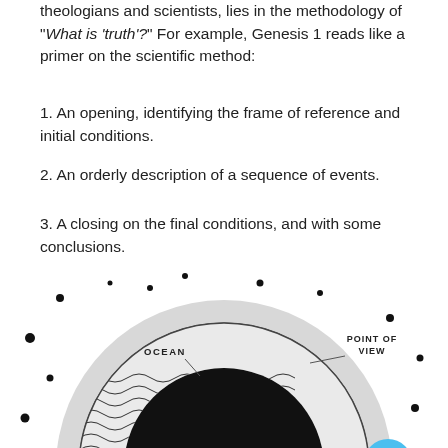theologians and scientists, lies in the methodology of "What is 'truth'?" For example, Genesis 1 reads like a primer on the scientific method:
1. An opening, identifying the frame of reference and initial conditions.
2. An orderly description of a sequence of events.
3. A closing on the final conditions, and with some conclusions.
[Figure (illustration): Diagram of Earth cross-section showing layers: outer scattered dots representing space/atmosphere, a light grey ring labeled OCEAN, a textured wave-pattern ring representing crust, a large dark black circle labeled CRUST AND CORE OF THE EARTH in white bold text. POINT OF VIEW label with a line in upper right. A blue circle with three dots (ellipsis) in lower right.]